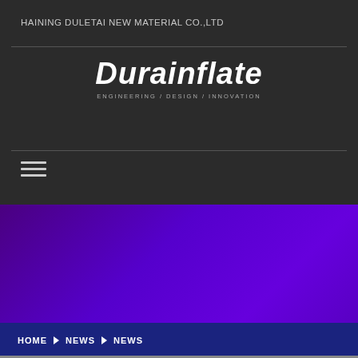HAINING DULETAI NEW MATERIAL CO.,LTD
[Figure (logo): Durainflate logo with italic bold white text and subtitle 'ENGINEERING / DESIGN / INNOVATION' in grey]
[Figure (infographic): Hamburger menu icon (three horizontal lines)]
[Figure (photo): Purple/violet gradient background area for content]
HOME ▶ NEWS ▶ NEWS